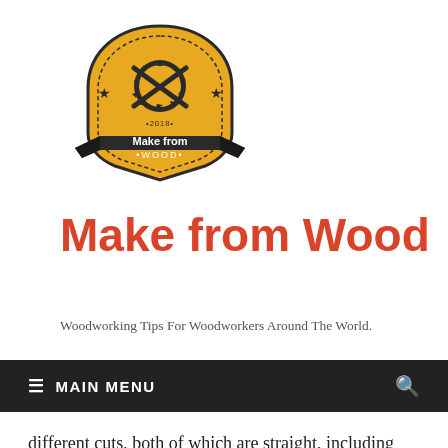[Figure (logo): Make from Wood logo: yellow badge shape with woodworking tools (saw blade and crossed tools), stars, '2018', and a dark banner below reading 'Make from Wood •WOOD•']
Make from Wood
Woodworking Tips For Woodworkers Around The World.
≡ MAIN MENU
different cuts, both of which are straight, including 90-degree angles. This basic type can also be used to